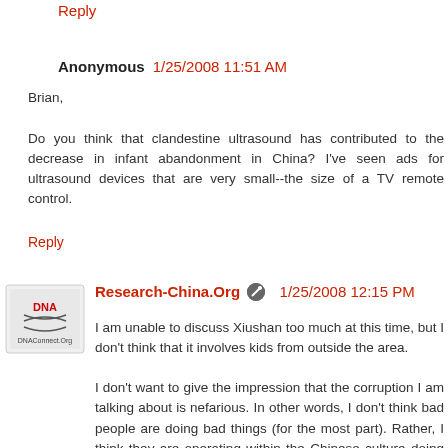Reply (truncated top)
Anonymous  1/25/2008 11:51 AM
Brian,

Do you think that clandestine ultrasound has contributed to the decrease in infant abandonment in China? I've seen ads for ultrasound devices that are very small--the size of a TV remote control.
Reply
[Figure (logo): DNAConnect.Org logo - small square icon with DNA helix graphic]
Research-China.Org  1/25/2008 12:15 PM
I am unable to discuss Xiushan too much at this time, but I don't think that it involves kids from outside the area.
I don't want to give the impression that the corruption I am talking about is nefarious. In other words, I don't think bad people are doing bad things (for the most part). Rather, I think they are operating within the Chinese culture doing things that violate basic human rights, and run contrary to